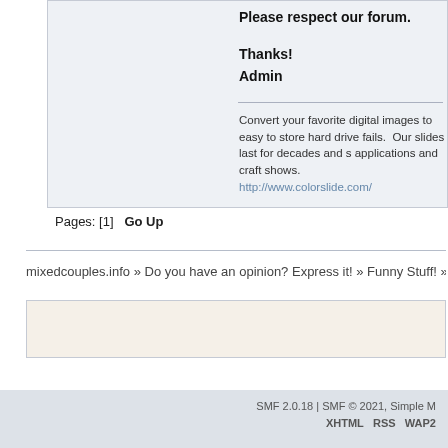Please respect our forum.
Thanks!
Admin
Convert your favorite digital images to easy to store slides so you never lose them when your hard drive fails.  Our slides last for decades and s... applications and craft shows.
http://www.colorslide.com/
Pages: [1]   Go Up
mixedcouples.info » Do you have an opinion? Express it! » Funny Stuff! » Topic: Thrilled
SMF 2.0.18 | SMF © 2021, Simple M
XHTML   RSS   WAP2